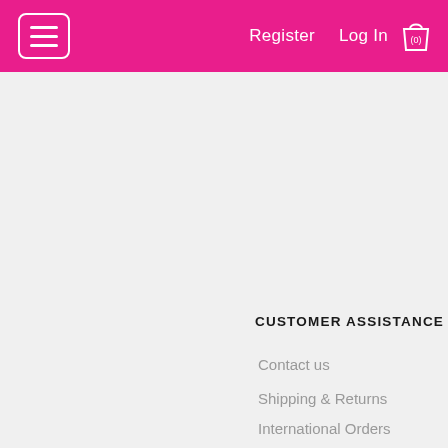Register   Log In   (0)
CUSTOMER ASSISTANCE
Contact us
Shipping & Returns
International Orders
New Products